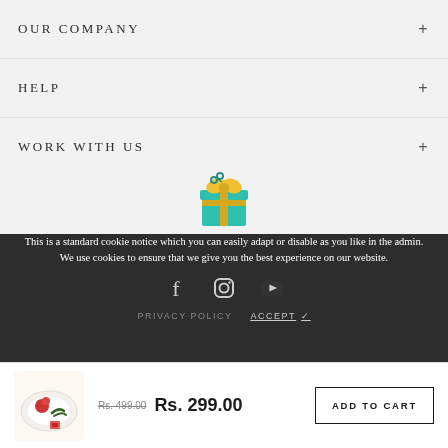OUR COMPANY +
HELP +
WORK WITH US +
[Figure (illustration): Teal gift box with a yellow ribbon/bow icon]
This is a standard cookie notice which you can easily adapt or disable as you like in the admin. We use cookies to ensure that we give you the best experience on our website.
[Figure (illustration): Social media icons: Facebook, Instagram, YouTube]
PRIVACY POLICY   ACCEPT ✓
[Figure (photo): Product thumbnail showing a decorated plate with food]
Rs. 499.00  Rs. 299.00
ADD TO CART